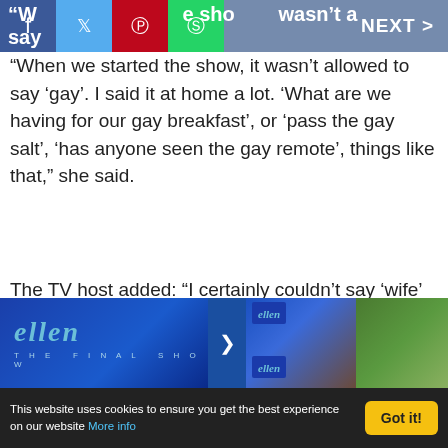"When we started the show, it wasn't allowed to say 'gay'. NEXT >
"When we started the show, it wasn't allowed to say 'gay'. I said it at home a lot. 'What are we having for our gay breakfast', or 'pass the gay salt', 'has anyone seen the gay remote', things like that," she said.
The TV host added: "I certainly couldn't say 'wife' because gay people couldn't get married. Now I say 'wife' all the time."
[Figure (photo): Photo strip showing Ellen DeGeneres show branding: 'ellen THE FINAL SHOW' text on blue background panels, with multiple thumbnails of the show's set.]
This website uses cookies to ensure you get the best experience on our website More info  Got it!